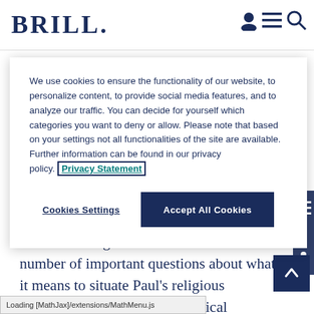BRILL
We use cookies to ensure the functionality of our website, to personalize content, to provide social media features, and to analyze our traffic. You can decide for yourself which categories you want to deny or allow. Please note that based on your settings not all functionalities of the site are available. Further information can be found in our privacy policy. Privacy Statement
Cookies Settings | Accept All Cookies
James C. Hanges' new book raises a number of important questions about what it means to situate Paul's religious activities within his own historical context, and also models one possible methodology for doing so. In this
Loading [MathJax]/extensions/MathMenu.js